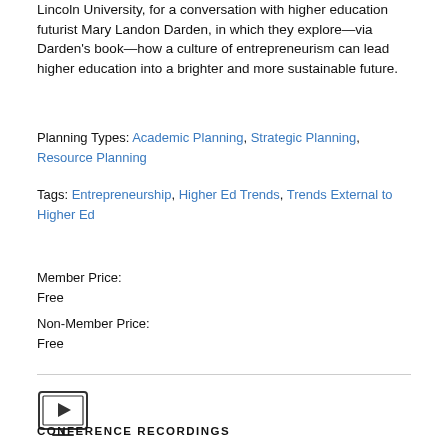Lincoln University, for a conversation with higher education futurist Mary Landon Darden, in which they explore—via Darden's book—how a culture of entrepreneurism can lead higher education into a brighter and more sustainable future.
Planning Types: Academic Planning, Strategic Planning, Resource Planning
Tags: Entrepreneurship, Higher Ed Trends, Trends External to Higher Ed
Member Price:
Free
Non-Member Price:
Free
[Figure (illustration): Video/conference recording icon — a small monitor with a play button]
CONFERENCE RECORDINGS